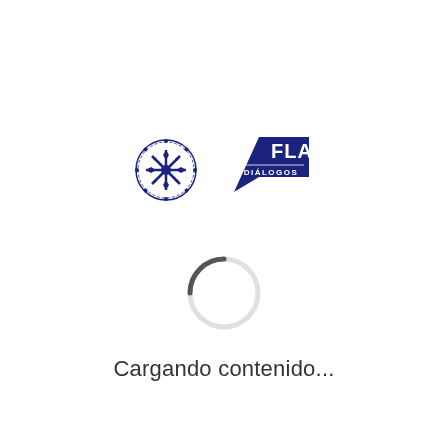[Figure (logo): FLAR Diálogos 2022 logo with a circular emblem on the left and a badge/shield shape with text 'FLAR DIÁLOGOS 2022' on the right, both in dark blue.]
[Figure (other): Loading spinner — a circular arc with a dark segment at the top-left, rendered in gray tones, indicating content is loading.]
Cargando contenido...